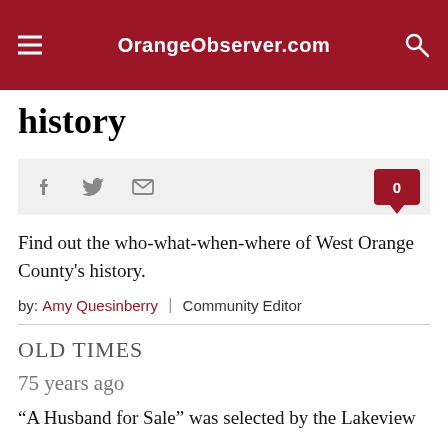OrangeObserver.com
history
[Figure (other): Social sharing bar with Facebook, Twitter, email icons and a comment badge showing 0]
Find out the who-what-when-where of West Orange County's history.
by: Amy Quesinberry | Community Editor
OLD TIMES
75 years ago
“A Husband for Sale” was selected by the Lakeview